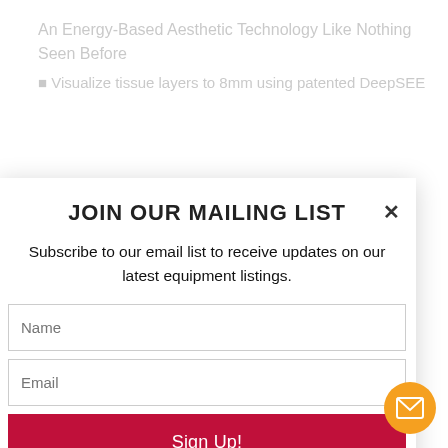An Energy-Based Aesthetic Technology Like Nothing Seen Before
Visualize tissue layers to 8mm using patented DeepSEE
JOIN OUR MAILING LIST
Subscribe to our email list to receive updates on our latest equipment listings.
Name
Email
Sign Up!
70 Degrees C
Focused energy bypasses the uppermost layer of skin leaving it undisturbed